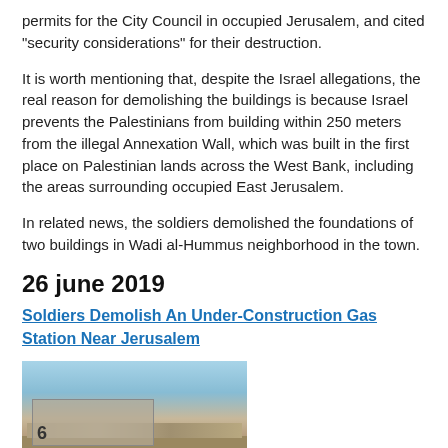permits for the City Council in occupied Jerusalem, and cited "security considerations" for their destruction.
It is worth mentioning that, despite the Israel allegations, the real reason for demolishing the buildings is because Israel prevents the Palestinians from building within 250 meters from the illegal Annexation Wall, which was built in the first place on Palestinian lands across the West Bank, including the areas surrounding occupied East Jerusalem.
In related news, the soldiers demolished the foundations of two buildings in Wadi al-Hummus neighborhood in the town.
26 june 2019
Soldiers Demolish An Under-Construction Gas Station Near Jerusalem
[Figure (photo): Photograph of a demolished or under-construction site, showing rubble and structures against a blue sky background, with the number 6 visible in the lower left area.]